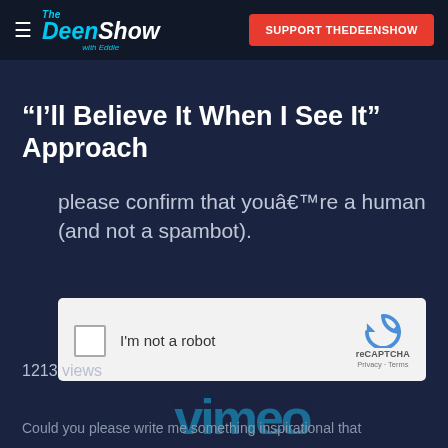The Deen Show with Eddie | SUPPORT THEDEENSHOW
“I’ll Believe It When I See It” Approach
please confirm that youâ€™re a human (and not a spambot).
[Figure (screenshot): reCAPTCHA widget showing a checkbox labeled 'I'm not a robot' with the reCAPTCHA logo, Privacy and Terms links]
1213 views
Could you please write me something inspirational that